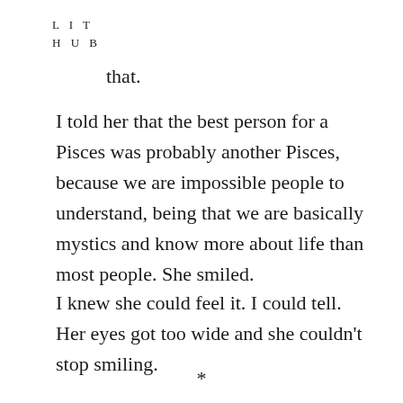L I T
H U B
that.
I told her that the best person for a Pisces was probably another Pisces, because we are impossible people to understand, being that we are basically mystics and know more about life than most people. She smiled.
I knew she could feel it. I could tell. Her eyes got too wide and she couldn't stop smiling.
*